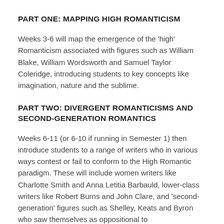PART ONE: MAPPING HIGH ROMANTICISM
Weeks 3-6 will map the emergence of the 'high' Romanticism associated with figures such as William Blake, William Wordsworth and Samuel Taylor Coleridge, introducing students to key concepts like imagination, nature and the sublime.
PART TWO: DIVERGENT ROMANTICISMS AND SECOND-GENERATION ROMANTICS
Weeks 6-11 (or 6-10 if running in Semester 1) then introduce students to a range of writers who in various ways contest or fail to conform to the High Romantic paradigm. These will include women writers like Charlotte Smith and Anna Letitia Barbauld, lower-class writers like Robert Burns and John Clare, and 'second-generation' figures such as Shelley, Keats and Byron who saw themselves as oppositional to